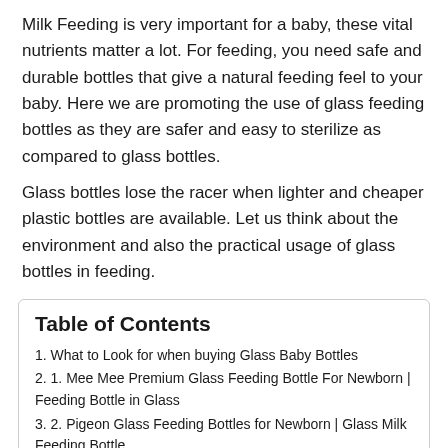Milk Feeding is very important for a baby, these vital nutrients matter a lot. For feeding, you need safe and durable bottles that give a natural feeding feel to your baby. Here we are promoting the use of glass feeding bottles as they are safer and easy to sterilize as compared to glass bottles.
Glass bottles lose the racer when lighter and cheaper plastic bottles are available. Let us think about the environment and also the practical usage of glass bottles in feeding.
Table of Contents
1. What to Look for when buying Glass Baby Bottles
2. 1. Mee Mee Premium Glass Feeding Bottle For Newborn | Feeding Bottle in Glass
3. 2. Pigeon Glass Feeding Bottles for Newborn | Glass Milk Feeding Bottle
4. 3. Pigeon Glass Feeding Bottle | Glass Milk Feeding Bottle